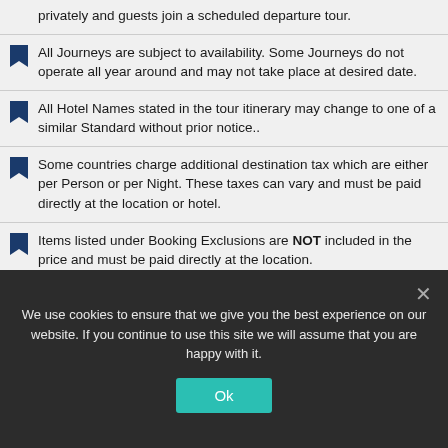privately and guests join a scheduled departure tour.
All Journeys are subject to availability. Some Journeys do not operate all year around and may not take place at desired date.
All Hotel Names stated in the tour itinerary may change to one of a similar Standard without prior notice..
Some countries charge additional destination tax which are either per Person or per Night. These taxes can vary and must be paid directly at the location or hotel.
Items listed under Booking Exclusions are NOT included in the price and must be paid directly at the location.
We use cookies to ensure that we give you the best experience on our website. If you continue to use this site we will assume that you are happy with it.